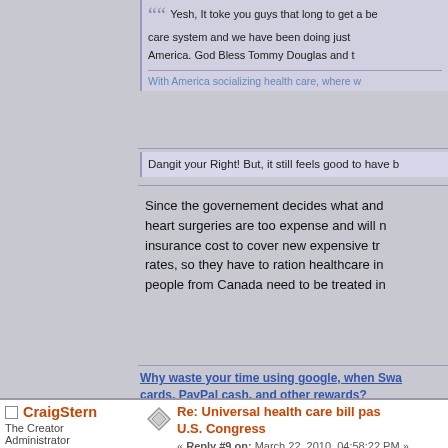Yesh, It toke you guys that long to get a better health care system and we have been doing just fine in America. God Bless Tommy Douglas and t
With America socializing health care, where w
Dangit your Right! But, it still feels good to have b
Since the governement decides what and who gets heart surgeries are too expense and will n insurance cost to cover new expensive tre rates, so they have to ration healthcare in people from Canada need to be treated in
Why waste your time using google, when Swa cards, PayPal cash, and other rewards?
CraigStern
The Creator
Administrator
Hero
Re: Universal health care bill pas U.S. Congress
« Reply #9 on: March 22, 2010, 04:58:22 PM »
Quote from: im2smart4u on March 22, 2010, 03:
Since the governement decides what and who g